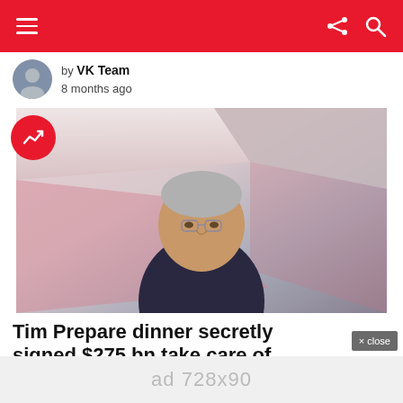Navigation bar with hamburger menu, share and search icons
by VK Team
8 months ago
[Figure (photo): Photo of Tim Cook (Apple CEO) in a dark polo shirt, standing in front of an Apple Store interior with pink accent lighting and geometric ceiling design. A red circular trending badge with a white arrow icon overlays the top-left corner of the image.]
Tim Prepare dinner secretly signed $275 bn take care of China. alleaes report
× close
ad 728x90